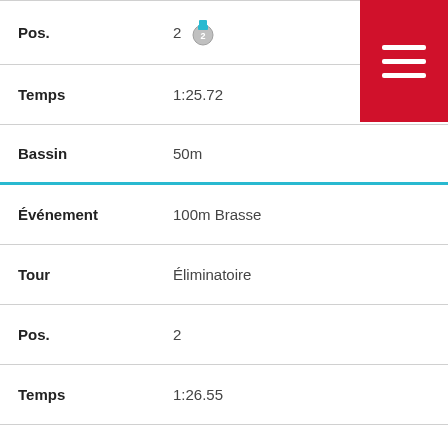| Pos. | 2 🥈 |
| Temps | 1:25.72 |
| Bassin | 50m |
| Événement | 100m Brasse |
| Tour | Éliminatoire |
| Pos. | 2 |
| Temps | 1:26.55 |
| Bassin | 50m |
| Événement | 50m Papillon |